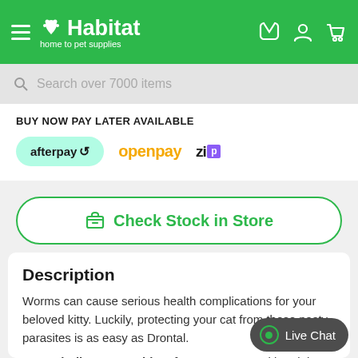Habitat home to pet supplies
Search over 7000 items
BUY NOW PAY LATER AVAILABLE
[Figure (logo): Payment logos: afterpay, openpay, zip]
Check Stock in Store
Description
Worms can cause serious health complications for your beloved kitty. Luckily, protecting your cat from these nasty parasites is as easy as Drontal.
Drontal Allwormer Tablets for Cats start working right
Live Chat